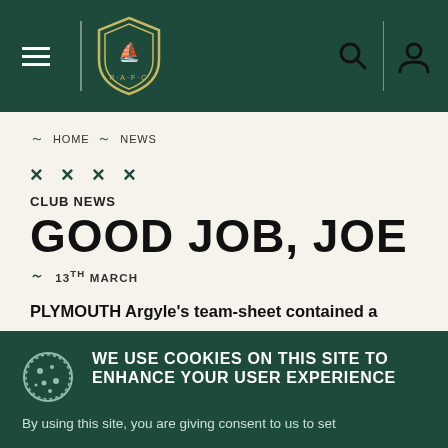Plymouth Argyle FC site header with navigation, logo, search and user icons
HOME ~ NEWS
× × × ×
CLUB NEWS
GOOD JOB, JOE
~ 13TH MARCH
PLYMOUTH Argyle's team-sheet contained a name which might have been alien to many of the supporters who arrived at Home Park for the game
WE USE COOKIES ON THIS SITE TO ENHANCE YOUR USER EXPERIENCE
By using this site, you are giving consent to us to set